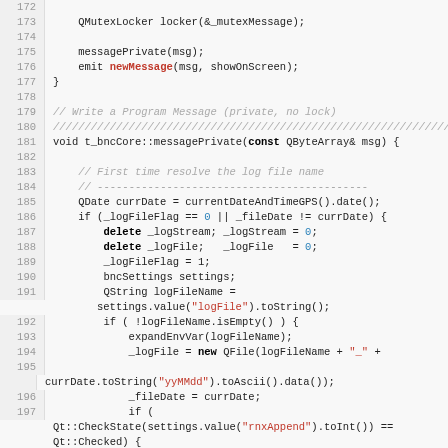[Figure (screenshot): Source code viewer showing C++ code for t_bncCore::messagePrivate function, lines 172-198, with line numbers on the left, syntax highlighting (keywords in bold, strings in red, numbers in blue), on a light gray background.]